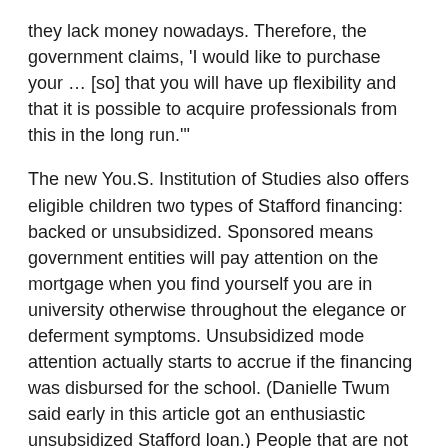they lack money nowadays. Therefore, the government claims, 'I would like to purchase your … [so] that you will have up flexibility and that it is possible to acquire professionals from this in the long run.'
The new You.S. Institution of Studies also offers eligible children two types of Stafford financing: backed or unsubsidized. Sponsored means government entities will pay attention on the mortgage when you find yourself you are in university otherwise throughout the elegance or deferment symptoms. Unsubsidized mode attention actually starts to accrue if the financing was disbursed for the school. (Danielle Twum said early in this article got an enthusiastic unsubsidized Stafford loan.) People that are not able to be considered to possess sponsored funds go for unsubsidized. Your own FAFSA will determine and therefore government financing you're eligible for.